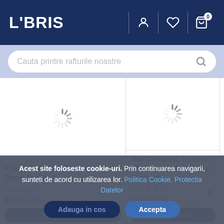LIBRIS
[Figure (screenshot): Search bar with placeholder text 'Cauta printre rafturile noastre' and a search icon]
It Happened One Summer - Tessa Bailey
The Complete Summer I Turned Pretty Trilogy - Jenny Han
80.59 Lei 87,54 Lei
183.47 Lei 205,00 Lei
Acest site foloseste cookie-uri. Prin continuarea navigarii, sunteti de acord cu utilizarea lor. Politica Cookie. Protectia Datelor
Accepta